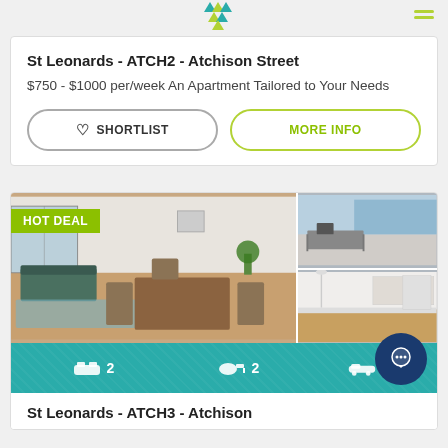St Leonards - ATCH2 - Atchison Street
$750 - $1000 per/week An Apartment Tailored to Your Needs
SHORTLIST  MORE INFO
[Figure (photo): Apartment interior photos grid with HOT DEAL badge, showing living/dining room main image and two smaller side images]
2 bedrooms, 2 bathrooms, 1 car space
St Leonards - ATCH3 - Atchison